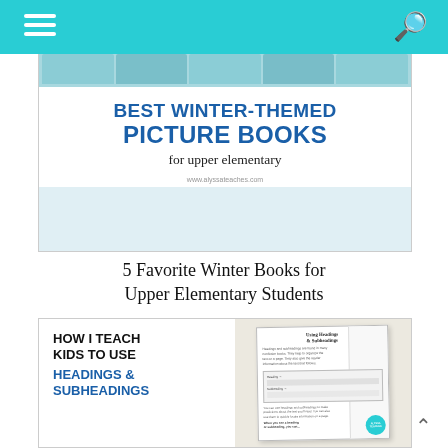Navigation bar with hamburger menu and search icon
[Figure (illustration): Blog post thumbnail card: Best Winter-Themed Picture Books for upper elementary, www.alyssateaches.com]
5 Favorite Winter Books for Upper Elementary Students
[Figure (illustration): Blog post thumbnail card: How I Teach Kids to Use Headings & Subheadings, with a worksheet image showing 'Using Headings & Subheadings' and Alyssa Teaches badge]